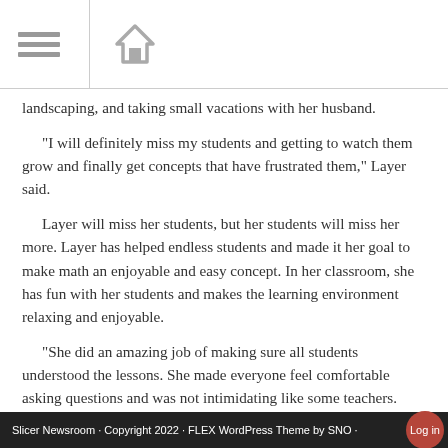[Menu icon] [Home icon]
landscaping, and taking small vacations with her husband.
“I will definitely miss my students and getting to watch them grow and finally get concepts that have frustrated them,” Layer said.
Layer will miss her students, but her students will miss her more. Layer has helped endless students and made it her goal to make math an enjoyable and easy concept. In her classroom, she has fun with her students and makes the learning environment relaxing and enjoyable.
“She did an amazing job of making sure all students understood the lessons. She made everyone feel comfortable asking questions and was not intimidating like some teachers. She’s a friend and a teacher,” Victoria Vaught, senior said.
Layer’s last piece of advice is to not take things personally, to remember the positive, and to smile.
The students and staff at LPHS can not thank Layer enough for all she
Slicer Newsroom · Copyright 2022 · FLEX WordPress Theme by SNO · Log in